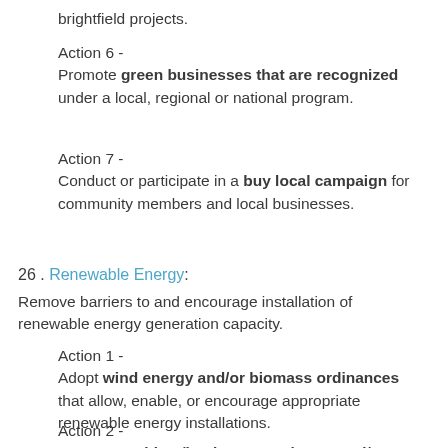brightfield projects.
Action 6 -
Promote green businesses that are recognized under a local, regional or national program.
Action 7 -
Conduct or participate in a buy local campaign for community members and local businesses.
26 . Renewable Energy:
Remove barriers to and encourage installation of renewable energy generation capacity.
Action 1 -
Adopt wind energy and/or biomass ordinances that allow, enable, or encourage appropriate renewable energy installations.
Action 2 -
Promote resident/business purchases and/or